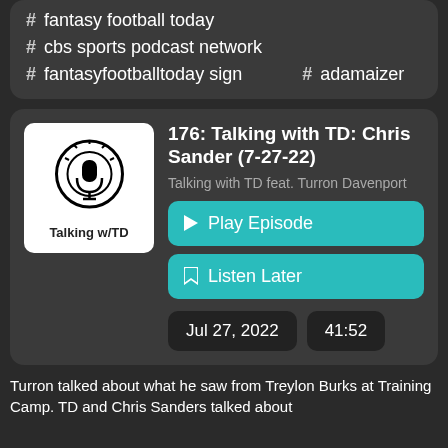# fantasy football today
# cbs sports podcast network
# fantasyfootballtoday sign   # adamaizer
176: Talking with TD: Chris Sander (7-27-22)
Talking with TD feat. Turron Davenport
Play Episode
Listen Later
Jul 27, 2022
41:52
Turron talked about what he saw from Treylon Burks at Training Camp. TD and Chris Sanders talked about